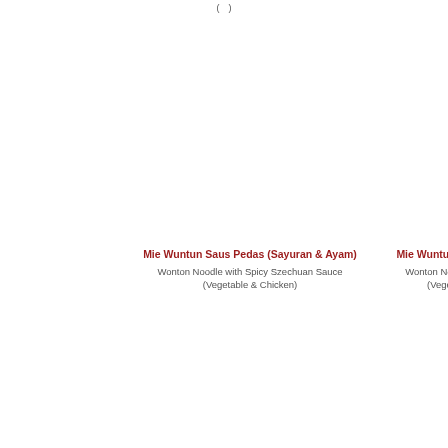(  )
Mie Wuntun Saus Pedas (Sayuran & Ayam)
Wonton Noodle with Spicy Szechuan Sauce
(Vegetable & Chicken)
Mie Wuntun Saus P...
Wonton Noodle wit...
(Vegetar...)